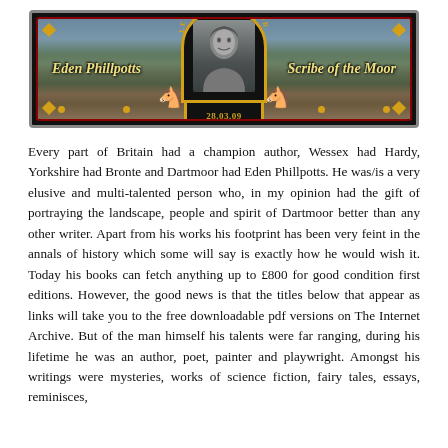[Figure (illustration): Legendary Dartmoor banner/header image featuring a landscape background with moorland, a central oval medallion portrait of Eden Phillpotts, circular text reading 'Legendary Dartmoor', italic gold text 'Eden Phillpotts' on the left and 'Scribe of the Moor' on the right, gold rearing horse figures flanking the medallion, corner gold diamond ornaments, date '28.03.09' at the bottom of the medallion, all on a black background with dark red inner border.]
Every part of Britain had a champion author, Wessex had Hardy, Yorkshire had Bronte and Dartmoor had Eden Phillpotts. He was/is a very elusive and multi-talented person who, in my opinion had the gift of portraying the landscape, people and spirit of Dartmoor better than any other writer. Apart from his works his footprint has been very feint in the annals of history which some will say is exactly how he would wish it. Today his books can fetch anything up to £800 for good condition first editions. However, the good news is that the titles below that appear as links will take you to the free downloadable pdf versions on The Internet Archive. But of the man himself his talents were far ranging, during his lifetime he was an author, poet, painter and playwright. Amongst his writings were mysteries, works of science fiction, fairy tales, essays, reminisces,